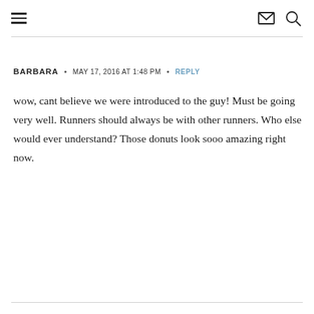☰ [menu icon] [email icon] [search icon]
BARBARA • MAY 17, 2016 AT 1:48 PM • REPLY
wow, cant believe we were introduced to the guy! Must be going very well. Runners should always be with other runners. Who else would ever understand? Those donuts look sooo amazing right now.